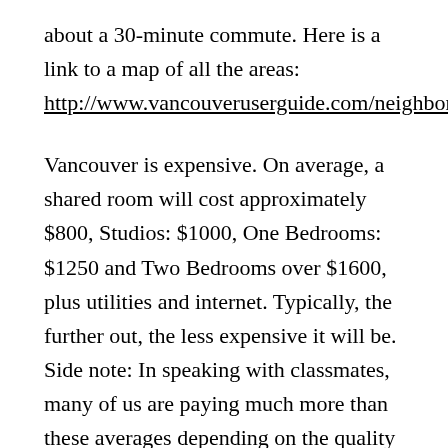about a 30-minute commute. Here is a link to a map of all the areas: http://www.vancouveruserguide.com/neighborhood.html
Vancouver is expensive. On average, a shared room will cost approximately $800, Studios: $1000, One Bedrooms: $1250 and Two Bedrooms over $1600, plus utilities and internet. Typically, the further out, the less expensive it will be. Side note: In speaking with classmates, many of us are paying much more than these averages depending on the quality of the unit, expectations and when we signed the lease, but many people found great deals too!